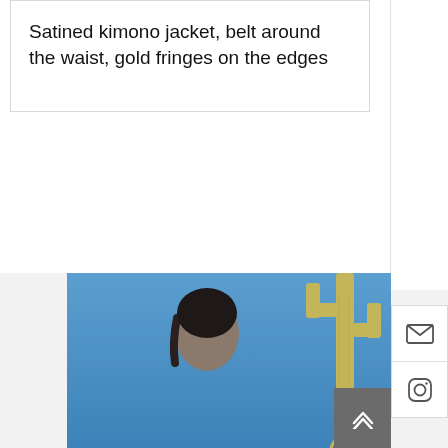Satined kimono jacket, belt around the waist, gold fringes on the edges
[Figure (photo): Fashion photo of a person (model) against a blue sky background with a golden cactus or decorative plant element on the right side.]